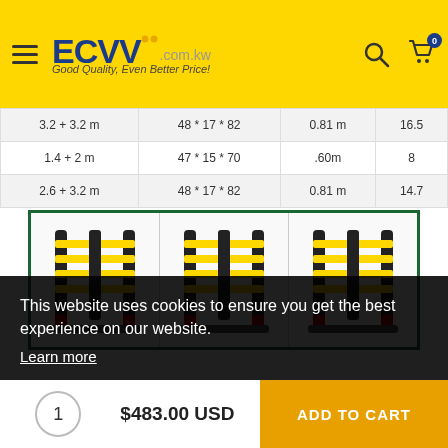ECVV .com.kw — Good Quality, Even Better Price!
| 3.2 + 3.2 m | 48 * 17 * 82 | 0.81 m | 16.5 |
| 1.4 + 2 m | 47 * 15 * 70 | .60m | 8 |
| 2.6 + 3.2 m | 48 * 17 * 82 | 0.81 m | 14.7 |
[Figure (photo): Three telescopic ladders shown folded, displayed side by side in a green-bordered panel]
This website uses cookies to ensure you get the best experience on our website. Learn more
1
$483.00 USD
ADD TO CART